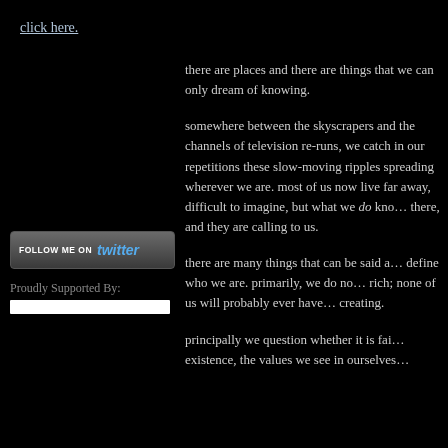click here.
[Figure (other): Follow me on Twitter button widget]
Proudly Supported By:
there are places and there are things that we can only dream of knowing.
somewhere between the skyscrapers and the channels of television re-runs, we catch in our repetitions these slow-moving ripples spreading wherever we are. most of us now live far away, difficult to imagine, but what we do know is that they are there, and they are calling to us.
there are many things that can be said about us that define who we are. primarily, we do not need to be rich; none of us will probably ever have to stop creating.
principally we question whether it is fair... existence, the values we see in ourselves...